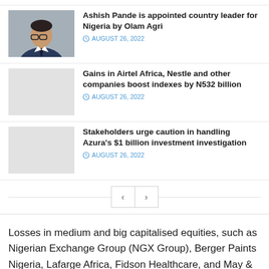[Figure (photo): Headshot of Ashish Pande, a man in a dark suit and tie with glasses]
Ashish Pande is appointed country leader for Nigeria by Olam Agri
AUGUST 26, 2022
[Figure (photo): Gray placeholder thumbnail image]
Gains in Airtel Africa, Nestle and other companies boost indexes by N532 billion
AUGUST 26, 2022
[Figure (photo): Gray placeholder thumbnail image]
Stakeholders urge caution in handling Azura's $1 billion investment investigation
AUGUST 26, 2022
Losses in medium and big capitalised equities, such as Nigerian Exchange Group (NGX Group), Berger Paints Nigeria, Lafarge Africa, Fidson Healthcare, and May & Baker Nigeria, contributed to the decline,